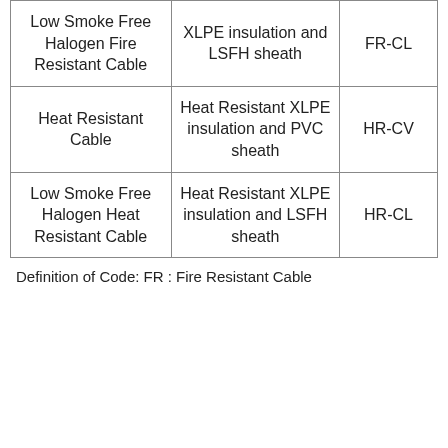| Low Smoke Free Halogen Fire Resistant Cable | XLPE insulation and LSFH sheath | FR-CL |
| Heat Resistant Cable | Heat Resistant XLPE insulation and PVC sheath | HR-CV |
| Low Smoke Free Halogen Heat Resistant Cable | Heat Resistant XLPE insulation and LSFH sheath | HR-CL |
Definition of Code: FR : Fire Resistant Cable